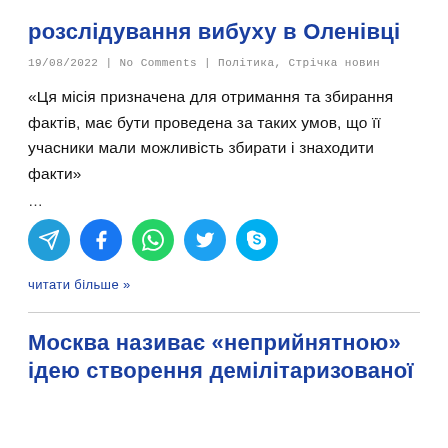розслідування вибуху в Оленівці
19/08/2022 | No Comments | Політика, Стрічка новин
«Ця місія призначена для отримання та збирання фактів, має бути проведена за таких умов, що її учасники мали можливість збирати і знаходити факти»
…
[Figure (infographic): Social media share buttons: Telegram, Facebook, WhatsApp, Twitter, Skype]
читати більше »
Москва називає «неприйнятною» ідею створення демілітаризованої